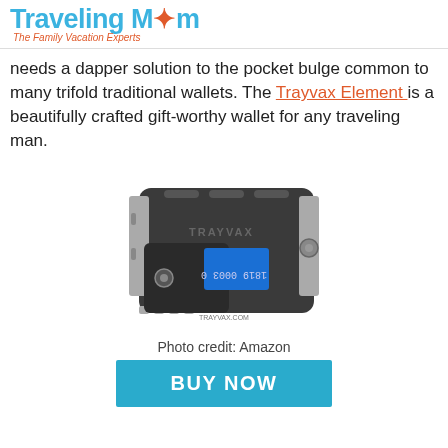TravelingMom - The Family Vacation Experts
needs a dapper solution to the pocket bulge common to many trifold traditional wallets. The Trayvax Element is a beautifully crafted gift-worthy wallet for any traveling man.
[Figure (photo): Product photo of the Trayvax Element wallet - a dark grey/black tactical-style slim wallet with metal accents and a blue credit card visible]
Photo credit: Amazon
BUY NOW